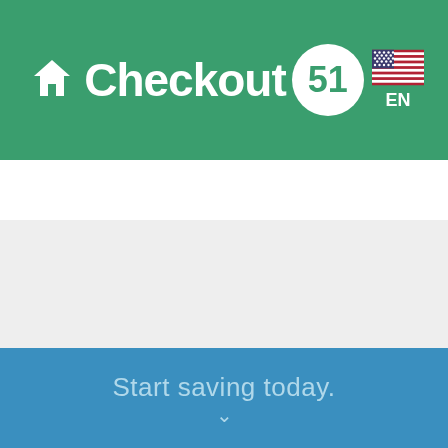[Figure (screenshot): Checkout 51 app header with green background, home icon on left, Checkout 51 logo in center (text with white circle containing number 51), US flag and EN language selector on right]
Start saving today.